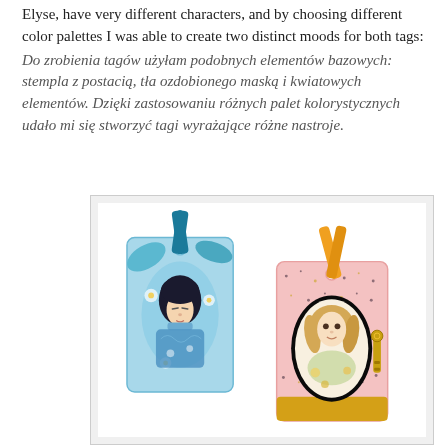Elyse, have very different characters, and by choosing different color palettes I was able to create two distinct moods for both tags:
Do zrobienia tagów użyłam podobnych elementów bazowych: stempla z postacią, tła ozdobionego maską i kwiatowych elementów. Dzięki zastosowaniu różnych palet kolorystycznych udało mi się stworzyć tagi wyrażające różne nastroje.
[Figure (photo): Two decorative handmade tags side by side. The left tag features a blue color palette with leaf and floral motifs and a figure of a girl with dark hair. It has a teal/blue ribbon at the top. The right tag has a pink/warm color palette with a glittery background, an oval cameo of a girl with light hair, and an orange/yellow ribbon.]